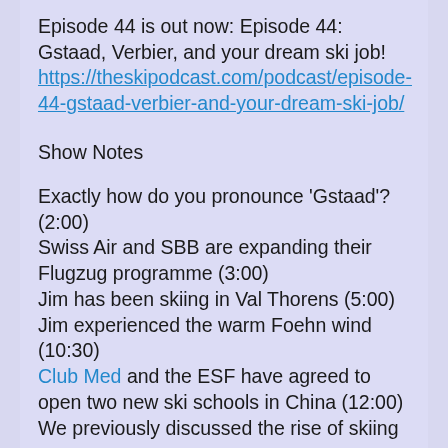Episode 44 is out now: Episode 44: Gstaad, Verbier, and your dream ski job! https://theskipodcast.com/podcast/episode-44-gstaad-verbier-and-your-dream-ski-job/
Show Notes
Exactly how do you pronounce 'Gstaad'? (2:00)
Swiss Air and SBB are expanding their Flugzug programme (3:00)
Jim has been skiing in Val Thorens (5:00)
Jim experienced the warm Foehn wind (10:30)
Club Med and the ESF have agreed to open two new ski schools in China (12:00)
We previously discussed the rise of skiing